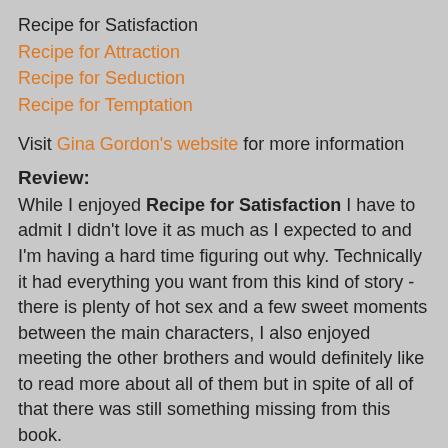Recipe for Satisfaction
Recipe for Attraction
Recipe for Seduction
Recipe for Temptation
Visit Gina Gordon's website for more information
Review:
While I enjoyed Recipe for Satisfaction I have to admit I didn't love it as much as I expected to and I'm having a hard time figuring out why. Technically it had everything you want from this kind of story - there is plenty of hot sex and a few sweet moments between the main characters, I also enjoyed meeting the other brothers and would definitely like to read more about all of them but in spite of all of that there was still something missing from this book.
I think it's partly because everything feels so rushed between them, Sterling and Jack have only met a couple of times when they both start thinking of how perfect they could be together and dreaming of the future. OK it takes them a while to express it and the "I love you" declarations don't come